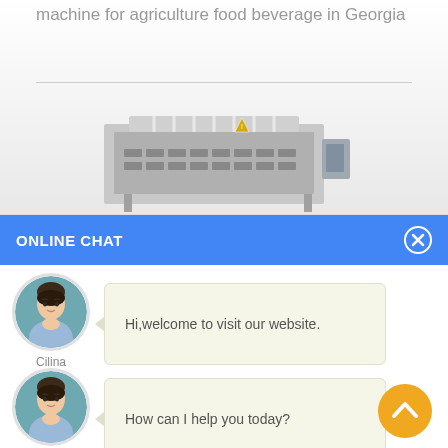machine for agriculture food beverage in Georgia
[Figure (photo): Industrial filling/processing machine, gray metallic, with tubes and control panel, partially visible]
ONLINE CHAT
[Figure (photo): Avatar of Cilina - a woman in light blue shirt]
Hi,welcome to visit our website.
Cilina
[Figure (photo): Avatar of Cilina - a woman in light blue shirt]
How can I help you today?
Cilina